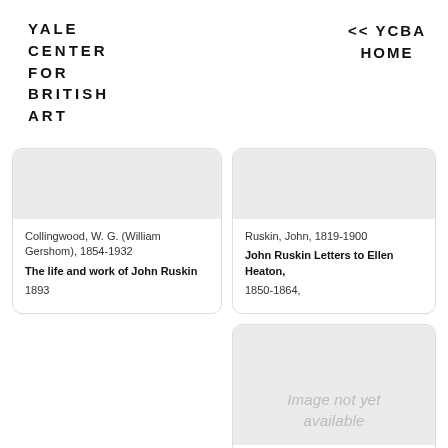YALE CENTER FOR BRITISH ART
<< YCBA HOME
Collingwood, W. G. (William Gershom), 1854-1932
The life and work of John Ruskin
1893
Ruskin, John, 1819-1900
John Ruskin Letters to Ellen Heaton,
1850-1864,
[Figure (other): Image not yet available placeholder]